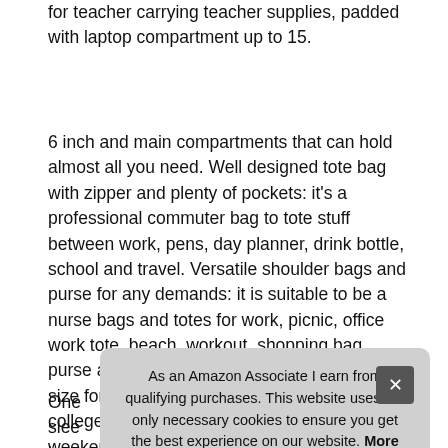for teacher carrying teacher supplies, padded with laptop compartment up to 15.
6 inch and main compartments that can hold almost all you need. Well designed tote bag with zipper and plenty of pockets: it's a professional commuter bag to tote stuff between work, pens, day planner, drink bottle, school and travel. Versatile shoulder bags and purse for any demands: it is suitable to be a nurse bags and totes for work, picnic, office work tote, beach, workout, shopping bag, purse and handbags, voyage, yoga, perfect size for business, travel, women travel tote, college school bag or teacher bag, short weekender overnight bag, sport, pool party, hiking and camping.
As an Amazon Associate I earn from qualifying purchases. This website uses the only necessary cookies to ensure you get the best experience on our website. More information
One slee luggage, that all contribute a convenient and comfort carrying